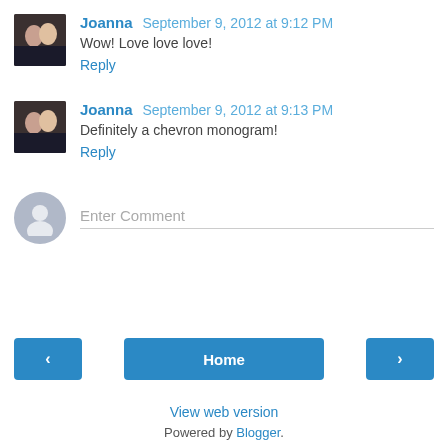Joanna  September 9, 2012 at 9:12 PM
Wow! Love love love!
Reply
Joanna  September 9, 2012 at 9:13 PM
Definitely a chevron monogram!
Reply
Enter Comment
Home
View web version
Powered by Blogger.